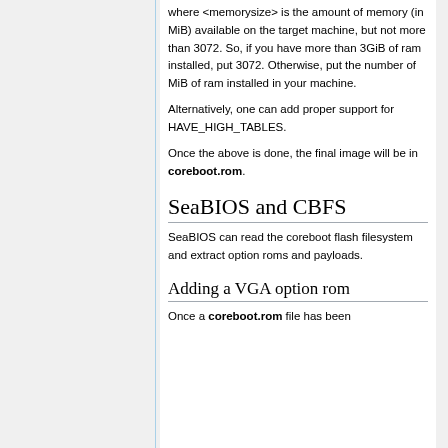where <memorysize> is the amount of memory (in MiB) available on the target machine, but not more than 3072. So, if you have more than 3GiB of ram installed, put 3072. Otherwise, put the number of MiB of ram installed in your machine.
Alternatively, one can add proper support for HAVE_HIGH_TABLES.
Once the above is done, the final image will be in coreboot.rom.
SeaBIOS and CBFS
SeaBIOS can read the coreboot flash filesystem and extract option roms and payloads.
Adding a VGA option rom
Once a coreboot.rom file has been